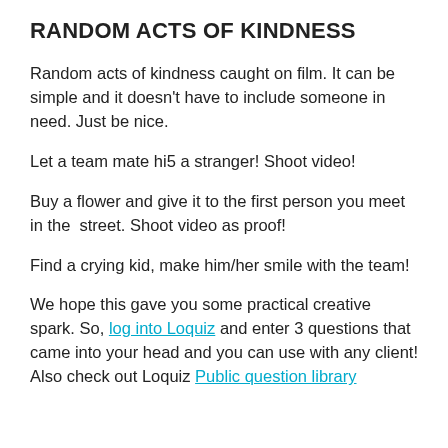RANDOM ACTS OF KINDNESS
Random acts of kindness caught on film. It can be simple and it doesn't have to include someone in need. Just be nice.
Let a team mate hi5 a stranger! Shoot video!
Buy a flower and give it to the first person you meet in the  street. Shoot video as proof!
Find a crying kid, make him/her smile with the team!
We hope this gave you some practical creative spark. So, log into Loquiz and enter 3 questions that came into your head and you can use with any client! Also check out Loquiz Public question library